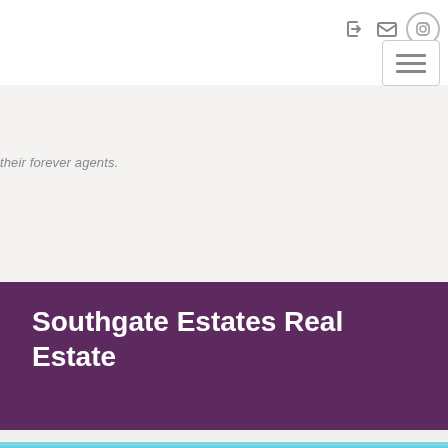[nav icons: login, email, instagram] [hamburger menu]
their forever agents.
Southgate Estates Real Estate
[Figure (photo): Partial view of outdoor photo strip with blue sky and green foliage, visible at very bottom of page]